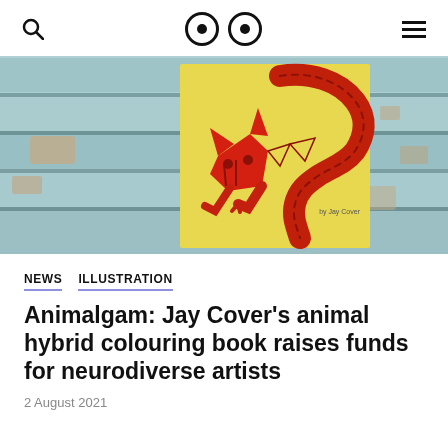Search | Logo (two eyes) | Menu
[Figure (photo): A yellow book with a red fox-lizard hybrid animal illustration on the cover, resting on weathered light blue painted wooden planks. Text on book reads 'by Jay Cover'.]
NEWS   ILLUSTRATION
Animalgam: Jay Cover's animal hybrid colouring book raises funds for neurodiverse artists
2 August 2021